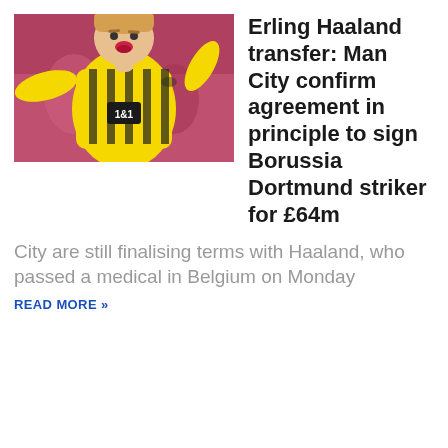[Figure (photo): Erling Haaland celebrating in yellow Borussia Dortmund kit with '1&1' sponsor, arms outstretched, mouth open, stadium background]
Erling Haaland transfer: Man City confirm agreement in principle to sign Borussia Dortmund striker for £64m
City are still finalising terms with Haaland, who passed a medical in Belgium on Monday READ MORE »